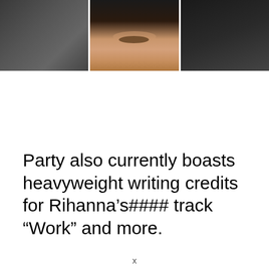[Figure (photo): Cropped photo showing what appears to be a person, split into three panels separated by white dividers. The center panel shows a close-up of a face (dark skin tones, eyes visible), flanked by darker panels.]
Party also currently boasts heavyweight writing credits for Rihanna's#### track “Work” and more.
x